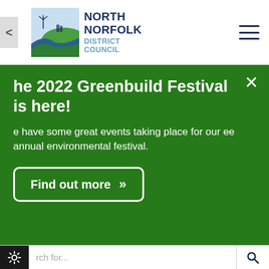[Figure (logo): North Norfolk District Council logo with landscape graphic and text]
The 2022 Greenbuild Festival is here!
We have some great events taking place for our free annual environmental festival.
Find out more »
Home » News » 2019 » July »
Sea Palling named in UK best Blue Flag beach list
Search for...